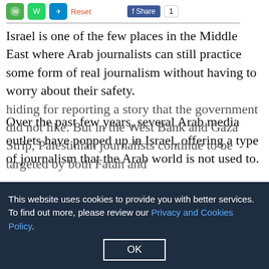[Social share icons: green icon, WhatsApp, Telegram] Reset  f Share  1
Israel is one of the few places in the Middle East where Arab journalists can still practice some form of real journalism without having to worry about their safety.
Over the past few years, several Arab media outlets have popped up in Israel, offering a type of journalism that the Arab world is not used to.
In Israel, they know, government "thugs" do not break the hands of cartoonists and photographers who dare to criticize the government. Nor does Israel arrest a journalist who post on Facebook a comment criticizing the president.
In the West Bank and Gaza Strip, Palestinian journalists continue to be targeted by both Fatah and Hamas...
This website uses cookies to provide you with better services. To find out more, please review our Privacy and Cookies Policy.
OK